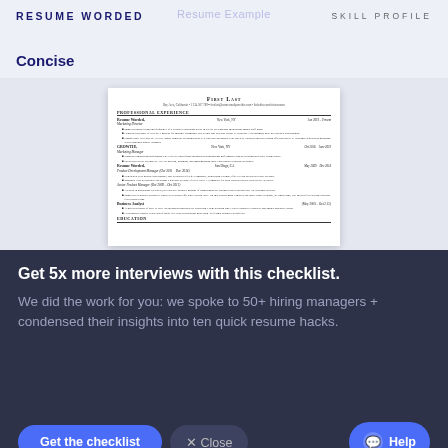RESUME WORDED | SKILL PROFILE
Resume Example
Concise
[Figure (screenshot): Screenshot of a resume for 'First Last' showing Professional Experience at Resume Worded (Marketing Director), GROWTH! (Marketing Manager), Resume Worded San Diego CA (Product Development Manager and Junior Product Manager), and Business Analyst roles, with bullet points describing accomplishments, followed by an Education section header.]
Get 5x more interviews with this checklist.
We did the work for you: we spoke to 50+ hiring managers + condensed their insights into ten quick resume hacks.
Get the checklist
× Close
Help